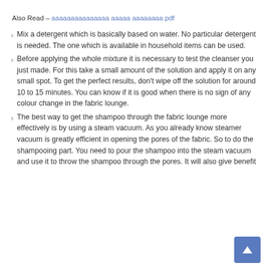Also Read – [non-latin text] pdf
Mix a detergent which is basically based on water. No particular detergent is needed. The one which is available in household items can be used.
Before applying the whole mixture it is necessary to test the cleanser you just made. For this take a small amount of the solution and apply it on any small spot. To get the perfect results, don't wipe off the solution for around 10 to 15 minutes. You can know if it is good when there is no sign of any colour change in the fabric lounge.
The best way to get the shampoo through the fabric lounge more effectively is by using a steam vacuum. As you already know steamer vacuum is greatly efficient in opening the pores of the fabric. So to do the shampooing part. You need to pour the shampoo into the steam vacuum and use it to throw the shampoo through the pores. It will also give benefit